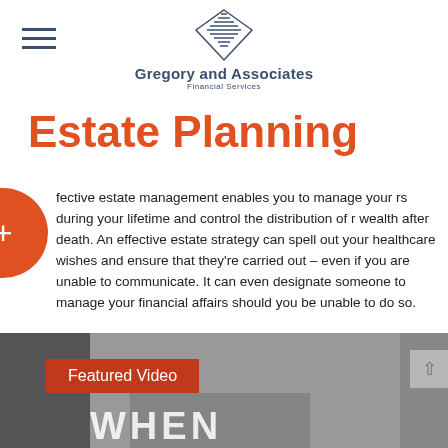Gregory and Associates Financial Services
Estate Planning
Effective estate management enables you to manage your affairs during your lifetime and control the distribution of your wealth after death. An effective estate strategy can spell out your healthcare wishes and ensure that they're carried out – even if you are unable to communicate. It can even designate someone to manage your financial affairs should you be unable to do so.
[Figure (photo): Featured Video thumbnail showing a hand, with 'WHEN' text visible. Orange badge reads 'Featured Video'.]